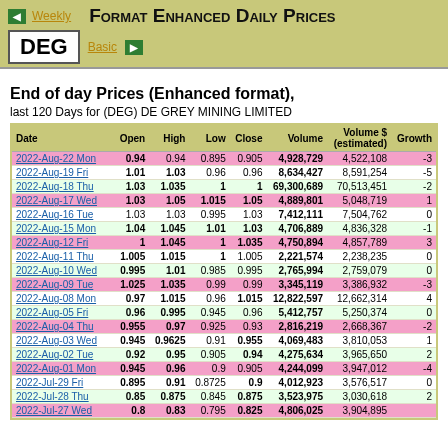FORMAT ENHANCED DAILY PRICES
DEG | Weekly | Basic
End of day Prices (Enhanced format),
last 120 Days for (DEG) DE GREY MINING LIMITED
| Date | Open | High | Low | Close | Volume | Volume $ (estimated) | Growth |
| --- | --- | --- | --- | --- | --- | --- | --- |
| 2022-Aug-22 Mon | 0.94 | 0.94 | 0.895 | 0.905 | 4,928,729 | 4,522,108 | -3 |
| 2022-Aug-19 Fri | 1.01 | 1.03 | 0.96 | 0.96 | 8,634,427 | 8,591,254 | -5 |
| 2022-Aug-18 Thu | 1.03 | 1.035 | 1 | 1 | 69,300,689 | 70,513,451 | -2 |
| 2022-Aug-17 Wed | 1.03 | 1.05 | 1.015 | 1.05 | 4,889,801 | 5,048,719 | 1 |
| 2022-Aug-16 Tue | 1.03 | 1.03 | 0.995 | 1.03 | 7,412,111 | 7,504,762 | 0 |
| 2022-Aug-15 Mon | 1.04 | 1.045 | 1.01 | 1.03 | 4,706,889 | 4,836,328 | -1 |
| 2022-Aug-12 Fri | 1 | 1.045 | 1 | 1.035 | 4,750,894 | 4,857,789 | 3 |
| 2022-Aug-11 Thu | 1.005 | 1.015 | 1 | 1.005 | 2,221,574 | 2,238,235 | 0 |
| 2022-Aug-10 Wed | 0.995 | 1.01 | 0.985 | 0.995 | 2,765,994 | 2,759,079 | 0 |
| 2022-Aug-09 Tue | 1.025 | 1.035 | 0.99 | 0.99 | 3,345,119 | 3,386,932 | -3 |
| 2022-Aug-08 Mon | 0.97 | 1.015 | 0.96 | 1.015 | 12,822,597 | 12,662,314 | 4 |
| 2022-Aug-05 Fri | 0.96 | 0.995 | 0.945 | 0.96 | 5,412,757 | 5,250,374 | 0 |
| 2022-Aug-04 Thu | 0.955 | 0.97 | 0.925 | 0.93 | 2,816,219 | 2,668,367 | -2 |
| 2022-Aug-03 Wed | 0.945 | 0.9625 | 0.91 | 0.955 | 4,069,483 | 3,810,053 | 1 |
| 2022-Aug-02 Tue | 0.92 | 0.95 | 0.905 | 0.94 | 4,275,634 | 3,965,650 | 2 |
| 2022-Aug-01 Mon | 0.945 | 0.96 | 0.9 | 0.905 | 4,244,099 | 3,947,012 | -4 |
| 2022-Jul-29 Fri | 0.895 | 0.91 | 0.8725 | 0.9 | 4,012,923 | 3,576,517 | 0 |
| 2022-Jul-28 Thu | 0.85 | 0.875 | 0.845 | 0.875 | 3,523,975 | 3,030,618 | 2 |
| 2022-Jul-27 Wed | 0.8 | 0.83 | 0.795 | 0.825 | 4,806,025 | 3,904,895 |  |